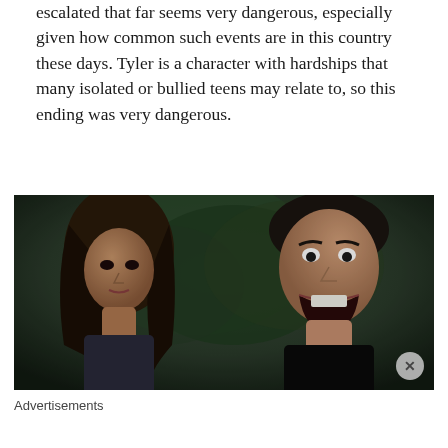escalated that far seems very dangerous, especially given how common such events are in this country these days. Tyler is a character with hardships that many isolated or bullied teens may relate to, so this ending was very dangerous.
[Figure (photo): A dramatic scene from a TV show or film showing two teenagers facing each other — a young woman with long brown hair on the left, and a young man on the right with his mouth open wide as if shouting or screaming, with lush green foliage in the background.]
Advertisements
[Figure (other): DuckDuckGo advertisement banner: orange background with text 'Search, browse, and email with more privacy. All in One Free App' alongside the DuckDuckGo logo on a dark background.]